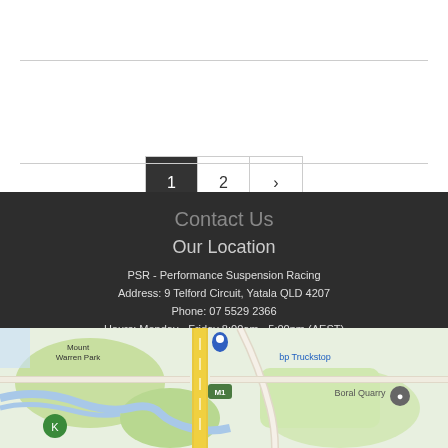1 2 >
Contact Us
Our Location
PSR - Performance Suspension Racing
Address: 9 Telford Circuit, Yatala QLD 4207
Phone: 07 5529 2366
Hours: Monday - Friday 8:00am - 5:00pm (AEST)
[Figure (map): Google Maps view showing area around Yatala QLD including Mount Warren Park, bp Truckstop, Boral Quarry, and M1 motorway]